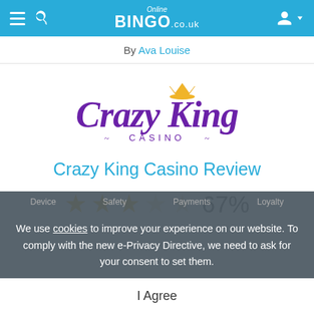Online BINGO.co.uk
By Ava Louise
[Figure (logo): Crazy King Casino logo — purple cursive 'Crazy King' text with a gold crown above, and 'CASINO' in small purple caps with decorative swirls below]
Crazy King Casino Review
★★★☆☆ 67%
We use cookies to improve your experience on our website. To comply with the new e-Privacy Directive, we need to ask for your consent to set them.
I Agree